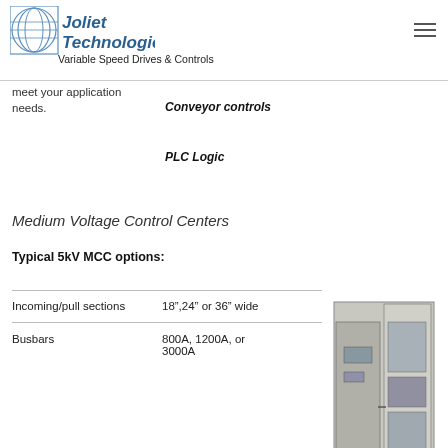[Figure (logo): Joliet Technologies logo with globe graphic and text 'Joliet Technologies Variable Speed Drives & Controls']
meet your application needs.
Conveyor controls
PLC Logic
Medium Voltage Control Centers
Typical 5kV MCC options:
|  |  |
| --- | --- |
| Incoming/pull sections | 18",24" or 36" wide |
| Busbars | 800A, 1200A, or 3000A |
[Figure (photo): Photo of a medium voltage MCC cabinet, metal enclosure with doors open showing internal components]